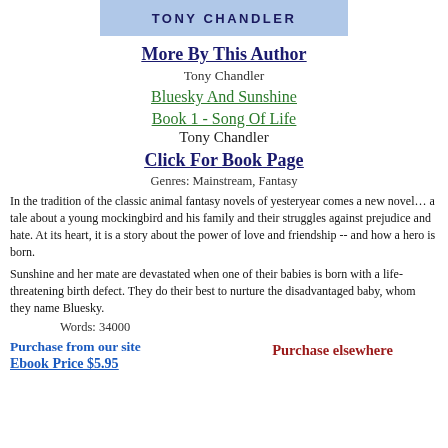[Figure (other): Blue banner with author name TONY CHANDLER in bold uppercase navy letters]
More By This Author
Tony Chandler
Bluesky And Sunshine
Book 1 - Song Of Life
Tony Chandler
Click For Book Page
Genres: Mainstream, Fantasy
In the tradition of the classic animal fantasy novels of yesteryear comes a new novel… a tale about a young mockingbird and his family and their struggles against prejudice and hate. At its heart, it is a story about the power of love and friendship -- and how a hero is born.
Sunshine and her mate are devastated when one of their babies is born with a life-threatening birth defect. They do their best to nurture the disadvantaged baby, whom they name Bluesky.
Words: 34000
Purchase from our site
Ebook Price $5.95
Purchase elsewhere